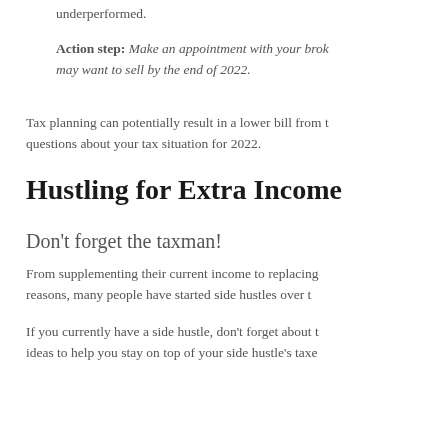underperformed.
Action step: Make an appointment with your broker may want to sell by the end of 2022.
Tax planning can potentially result in a lower bill from t questions about your tax situation for 2022.
Hustling for Extra Income
Don't forget the taxman!
From supplementing their current income to replacing reasons, many people have started side hustles over t
If you currently have a side hustle, don't forget about t ideas to help you stay on top of your side hustle's taxe